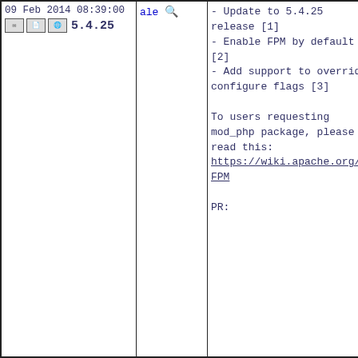| Date/Meta | User | Content |
| --- | --- | --- |
| 09 Feb 2014 08:39:00
[icons] 5.4.25 | ale [search] | - Update to 5.4.25 release [1]
- Enable FPM by default [2]
- Add support to override configure flags [3]

To users requesting mod_php package, please read this: https://wiki.apache.org/httpd/PHP-FPM

PR: |